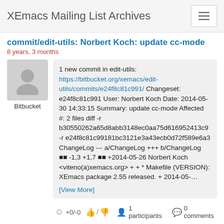XEmacs Mailing List Archives
commit/edit-utils: Norbert Koch: update cc-mode   8 years, 3 months
[Figure (illustration): Generic user avatar icon (gray silhouette on gray background) with label 'Bitbucket' below]
1 new commit in edit-utils: https://bitbucket.org/xemacs/edit-utils/commits/e24f8c81c991/ Changeset: e24f8c81c991 User: Norbert Koch Date: 2014-05-30 14:33:15 Summary: update cc-mode Affected #: 2 files diff -r b30550262a65d8abb3148ec0aa75d616952413c9 -r e24f8c81c99181bc3121e3a43ecb0d72f589e6a3 ChangeLog --- a/ChangeLog +++ b/ChangeLog @@ -1,3 +1,7 @@ +2014-05-26 Norbert Koch <viteno(a)xemacs.org> + + * Makefile (VERSION): XEmacs package 2.55 released. + 2014-05-...
[View More]
+0/-0   /     1 participants   0 comments